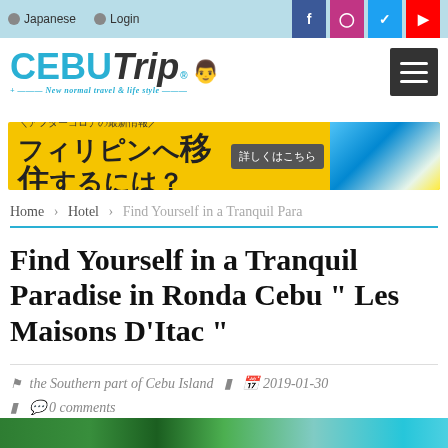Japanese | Login | [Facebook] [Instagram] [Twitter] [YouTube]
[Figure (logo): CEBU Trip logo with mascot character and tagline: New normal travel & life style]
[Figure (infographic): Yellow advertisement banner with Japanese text: アフターコロナの最新情報/ フィリピンへ移住するには？ with button 詳しくはこちら and tropical image]
Home › Hotel › Find Yourself in a Tranquil Para
Find Yourself in a Tranquil Paradise in Ronda Cebu " Les Maisons D'Itac "
the Southern part of Cebu Island  2019-01-30  0 comments